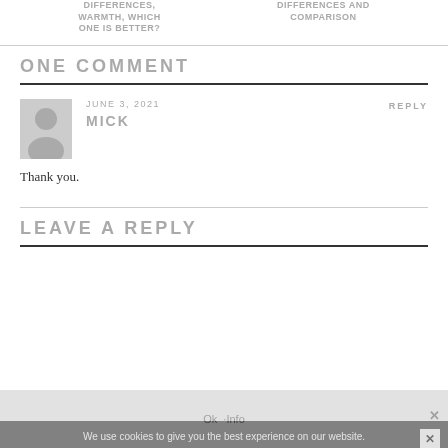DIFFERENCES, WARMTH, WHICH ONE IS BETTER?
DIFFERENCES AND COMPARISON
ONE COMMENT
JUNE 3, 2021
MICK
REPLY
Thank you.
LEAVE A REPLY
We use cookies to give you the best experience on our website.
Ok  ·Info